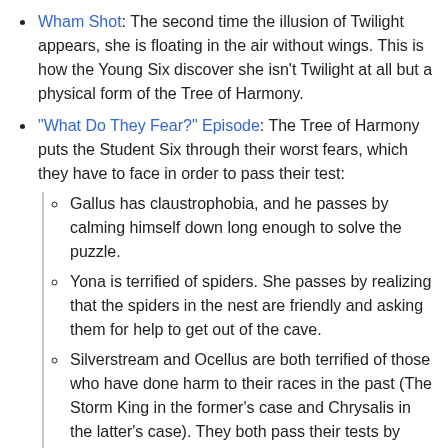Wham Shot: The second time the illusion of Twilight appears, she is floating in the air without wings. This is how the Young Six discover she isn't Twilight at all but a physical form of the Tree of Harmony.
"What Do They Fear?" Episode: The Tree of Harmony puts the Student Six through their worst fears, which they have to face in order to pass their test:
Gallus has claustrophobia, and he passes by calming himself down long enough to solve the puzzle.
Yona is terrified of spiders. She passes by realizing that the spiders in the nest are friendly and asking them for help to get out of the cave.
Silverstream and Ocellus are both terrified of those who have done harm to their races in the past (The Storm King in the former's case and Chrysalis in the latter's case). They both pass their tests by accepting that their past is behind them and the bad guys won't hurt them or the ones they love ever again.